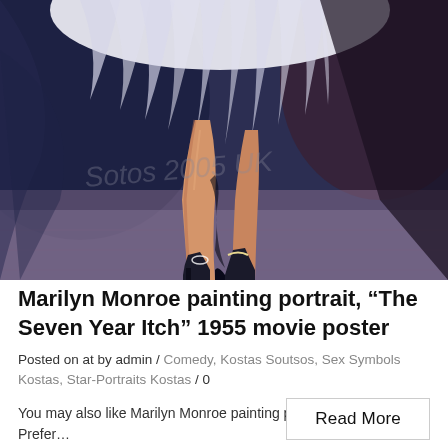[Figure (illustration): Painting of Marilyn Monroe's legs and white dress from The Seven Year Itch movie poster, showing her famous skirt-blowing scene with high heels, painted in oil style with watermark text]
Marilyn Monroe painting portrait, “The Seven Year Itch” 1955 movie poster
Posted on at by admin / Comedy, Kostas Soutsos, Sex Symbols Kostas, Star-Portraits Kostas / 0
You may also like Marilyn Monroe painting portrait, Gentlemen Prefer…
Read More